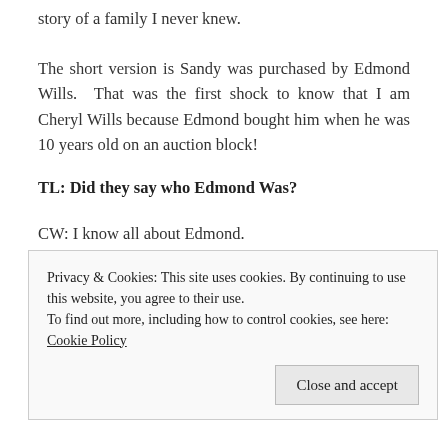story of a family I never knew.
The short version is Sandy was purchased by Edmond Wills. That was the first shock to know that I am Cheryl Wills because Edmond bought him when he was 10 years old on an auction block!
TL: Did they say who Edmond Was?
CW: I know all about Edmond.
TL: Of course.
Privacy & Cookies: This site uses cookies. By continuing to use this website, you agree to their use.
To find out more, including how to control cookies, see here: Cookie Policy
Close and accept